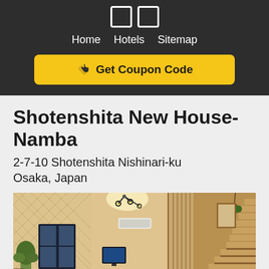[Figure (logo): Two white outlined squares (logo icons)]
Home   Hotels   Sitemap
[Figure (other): Yellow 'Get Coupon Code' button with hand pointer icon]
Shotenshita New House-Namba
2-7-10 Shotenshita Nishinari-ku Osaka, Japan
[Figure (photo): Interior photo of Shotenshita New House-Namba showing a modern living area with patterned walls, ceiling spotlight, wall-mounted TV, and a wooden staircase on the right side.]